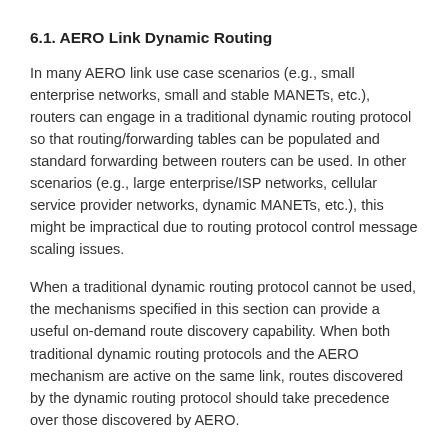6.1. AERO Link Dynamic Routing
In many AERO link use case scenarios (e.g., small enterprise networks, small and stable MANETs, etc.), routers can engage in a traditional dynamic routing protocol so that routing/forwarding tables can be populated and standard forwarding between routers can be used. In other scenarios (e.g., large enterprise/ISP networks, cellular service provider networks, dynamic MANETs, etc.), this might be impractical due to routing protocol control message scaling issues.
When a traditional dynamic routing protocol cannot be used, the mechanisms specified in this section can provide a useful on-demand route discovery capability. When both traditional dynamic routing protocols and the AERO mechanism are active on the same link, routes discovered by the dynamic routing protocol should take precedence over those discovered by AERO.
6.2. AERO Node Behavior